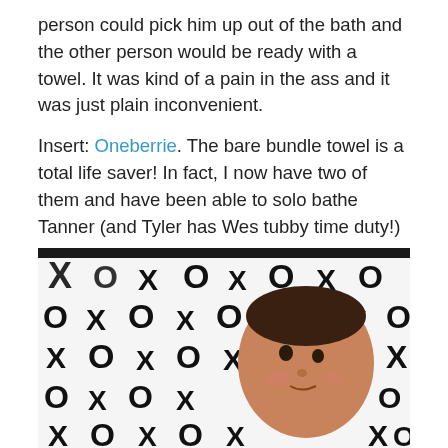person could pick him up out of the bath and the other person would be ready with a towel. It was kind of a pain in the ass and it was just plain inconvenient.
Insert: Oneberrie. The bare bundle towel is a total life saver! In fact, I now have two of them and have been able to solo bathe Tanner (and Tyler has Wes tubby time duty!)
[Figure (photo): A newborn baby lying on a black and white XO pattern towel/blanket. The baby is looking slightly to the side. The towel has a bold black and white XOXO print pattern.]